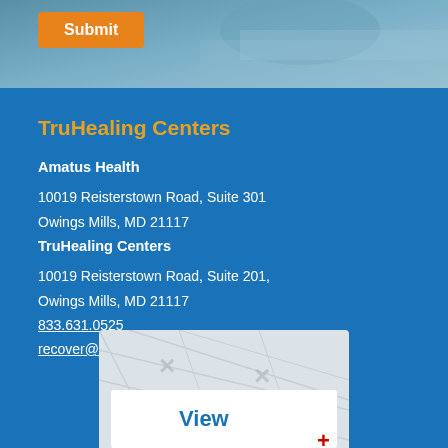[Figure (photo): Top banner image with blue tinted background showing a person]
Submit
TruHealing Centers
Amatus Health
10019 Reisterstown Road, Suite 301
Owings Mills, MD 21117
TruHealing Centers
10019 Reisterstown Road, Suite 201,
Owings Mills, MD 21117
833.631.0525
recover@amatushealth.com
[Figure (map): Partial Google Map view with View label and red cross/plus icon]